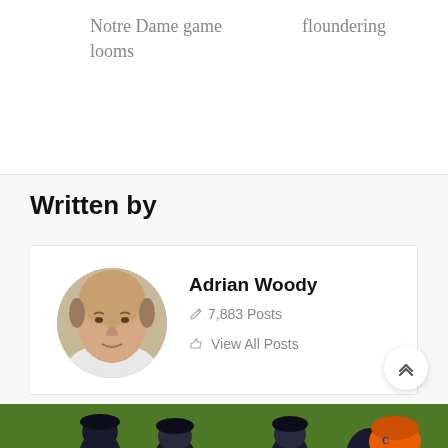Notre Dame game looms
floundering
Written by
Adrian Woody
✏ 7,883 Posts
👍 View All Posts
[Figure (photo): Headshot of Adrian Woody, a bald man in a white shirt]
Related Posts
[Figure (photo): Group of baseball players in dark uniforms and caps on a green field]